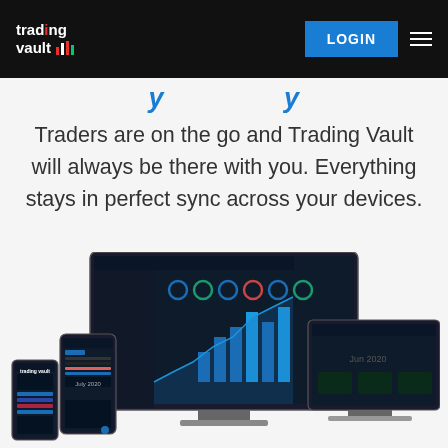trading vault [logo]
Traders are on the go and Trading Vault will always be there with you. Everything stays in perfect sync across your devices.
[Figure (screenshot): Marketing screenshot showing Trading Vault dashboard software displayed across multiple devices: a desktop monitor, tablet, smartphone, and laptop, all showing dark-themed trading analytics interfaces with charts and data.]